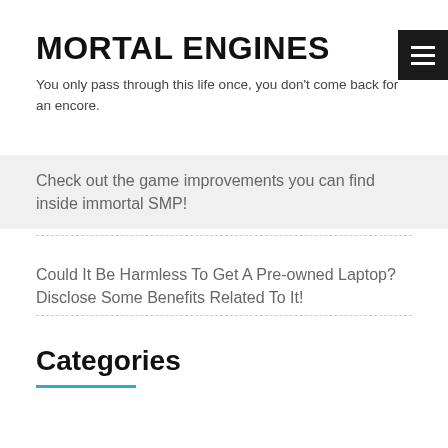MORTAL ENGINES
You only pass through this life once, you don't come back for an encore.
Check out the game improvements you can find inside immortal SMP!
Could It Be Harmless To Get A Pre-owned Laptop? Disclose Some Benefits Related To It!
Categories